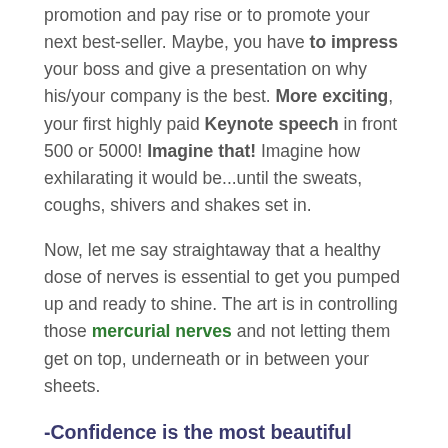promotion and pay rise or to promote your next best-seller. Maybe, you have to impress your boss and give a presentation on why his/your company is the best. More exciting, your first highly paid Keynote speech in front 500 or 5000! Imagine that! Imagine how exhilarating it would be...until the sweats, coughs, shivers and shakes set in.
Now, let me say straightaway that a healthy dose of nerves is essential to get you pumped up and ready to shine. The art is in controlling those mercurial nerves and not letting them get on top, underneath or in between your sheets.
-Confidence is the most beautiful